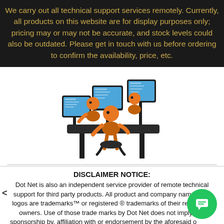We carry out all technical support services remotely. Currently, all products on this website are for display purposes only; pricing may or may not be accurate, and stock levels could also be outdated. Please get in touch with us before ordering to confirm the availability, price, etc.
[Figure (illustration): Cartoon illustration of three orange humanoid figures working at a desk with multiple blue monitors, depicting a technical support team.]
DISCLAIMER NOTICE:
Dot Net is also an independent service provider of remote technical support for third party products. All product and company names and logos are trademarks™ or registered ® trademarks of their respective owners. Use of those trade marks by Dot Net does not imply any sponsorship by, affiliation with or endorsement by the aforesaid owners who may also provide technical support to Dot Net customers directly. Dot Net Subscriptions (Consumer) Apple Device + GST